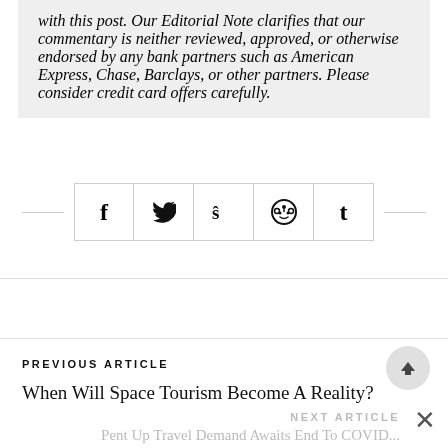with this post. Our Editorial Note clarifies that our commentary is neither reviewed, approved, or otherwise endorsed by any bank partners such as American Express, Chase, Barclays, or other partners. Please consider credit card offers carefully.
[Figure (other): Social share buttons: Facebook (f), Twitter (bird), StumbleUpon (su), Reddit (alien circle), Tumblr (t)]
PREVIOUS ARTICLE
When Will Space Tourism Become A Reality?
NEXT ARTICLE
Pent Up Travel Demand Awaits End To COVID...